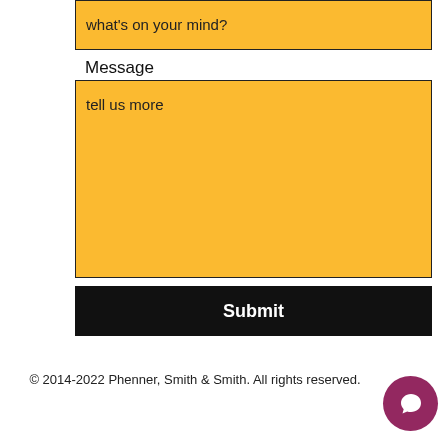what's on your mind?
Message
tell us more
Submit
© 2014-2022 Phenner, Smith & Smith. All rights reserved.